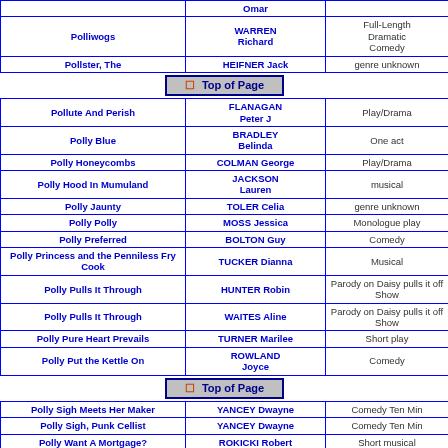| Title | Author | Genre |
| --- | --- | --- |
|  | Omar |  |
| Polliwogs | WARREN Richard | Full-Length Dramatic Comedy |
| Pollster, The | HEIFNER Jack | genre unknown |
| [Top of Page] |  |  |
| Pollute And Perish | FLANAGAN Peter J | Play/Drama |
| Polly Blue | BRADLEY Belinda | One act |
| Polly Honeycombs | COLMAN George | Play/Drama |
| Polly Hood In Mumuland | JACKSON Lauren | musical |
| Polly Jaunty | TOLER Celia | genre unknown |
| Polly Polly | MOSS Jessica | Monologue play |
| Polly Preferred | BOLTON Guy | Comedy |
| Polly Princess and the Penniless Fry Cook | TUCKER Dianna | Musical |
| Polly Pulls It Through | HUNTER Robin | Parody on Daisy pulls it off Show |
| Polly Pulls It Through | WAITES Aline | Parody on Daisy pulls it off Show |
| Polly Pure Heart Prevails | TURNER Marilee | Short play |
| Polly Put the Kettle On | ROWLAND Joyce | Comedy |
| [Top of Page] |  |  |
| Polly Sigh Meets Her Maker | YANCEY Dwayne | Comedy Ten Min |
| Polly Sigh, Punk Cellist | YANCEY Dwayne | Comedy Ten Min |
| Polly Want A Mortgage? | ROKICKI Robert | Short musical |